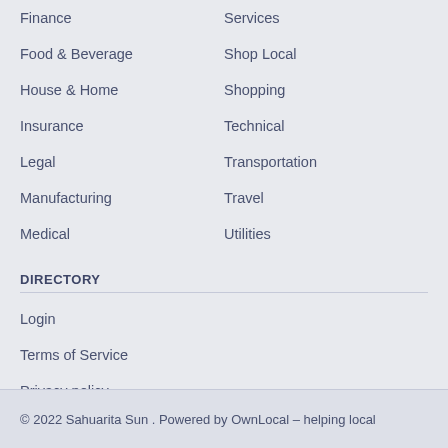Finance
Services
Food & Beverage
Shop Local
House & Home
Shopping
Insurance
Technical
Legal
Transportation
Manufacturing
Travel
Medical
Utilities
DIRECTORY
Login
Terms of Service
Privacy policy
Go To Top
© 2022 Sahuarita Sun . Powered by OwnLocal – helping local